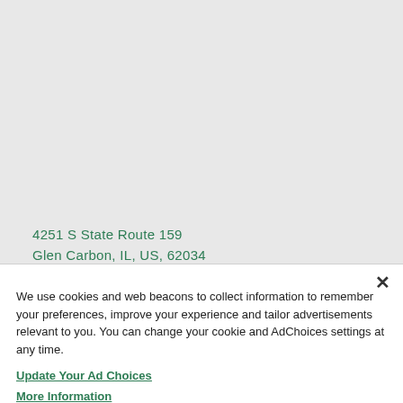[Figure (map): Map background area showing a street map view, grayed out]
4251 S State Route 159
Glen Carbon, IL, US, 62034
We use cookies and web beacons to collect information to remember your preferences, improve your experience and tailor advertisements relevant to you. You can change your cookie and AdChoices settings at any time.
Update Your Ad Choices
More Information